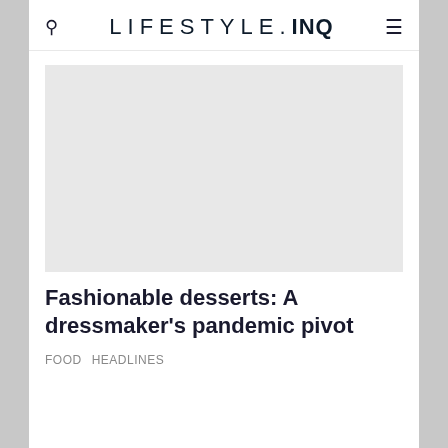LIFESTYLE.INQ
[Figure (photo): Large image placeholder (gray rectangle) for the article hero image]
Fashionable desserts: A dressmaker's pandemic pivot
FOOD   HEADLINES